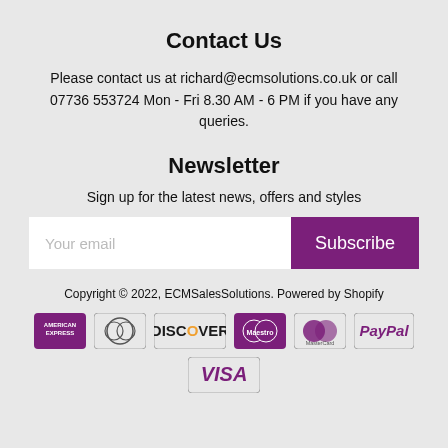Contact Us
Please contact us at richard@ecmsolutions.co.uk or call 07736 553724 Mon - Fri 8.30 AM - 6 PM if you have any queries.
Newsletter
Sign up for the latest news, offers and styles
Your email | Subscribe
Copyright © 2022, ECMSalesSolutions. Powered by Shopify
[Figure (logo): Payment method logos: American Express, Diners Club, Discover, Maestro, MasterCard, PayPal, Visa]